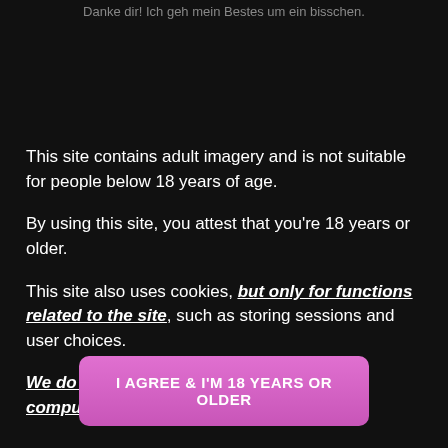Danke dir! Ich geh mein Bestes um ein bisschen.
This site contains adult imagery and is not suitable for people below 18 years of age.
By using this site, you attest that you're 18 years or older.
This site also uses cookies, but only for functions related to the site, such as storing sessions and user choices.
We do not put tracking cookies on your computer.
I AGREE & I'M 18 YEARS OR OLDER